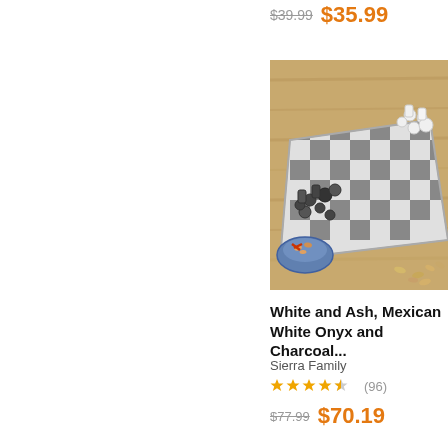$39.99  $35.99
[Figure (photo): A marble chess set with white onyx and charcoal/dark pieces on a checkered board, placed on a wooden surface with a small bowl of snacks nearby]
White and Ash, Mexican White Onyx and Charcoal...
Sierra Family
★★★★☆ (96)
$77.99  $70.19